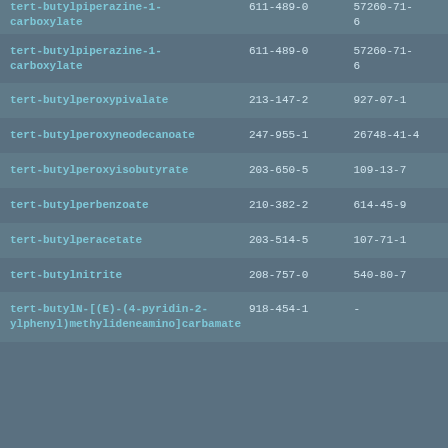| Substance name | EC number | CAS number |
| --- | --- | --- |
| tert-butylpiperazine-1-carboxylate | 611-489-0 | 57260-71-6 |
| tert-butylpiperazine-1-carboxylate | 611-489-0 | 57260-71-6 |
| tert-butylperoxypivalate | 213-147-2 | 927-07-1 |
| tert-butylperoxyneodecanoate | 247-955-1 | 26748-41-4 |
| tert-butylperoxyisobutyrate | 203-650-5 | 109-13-7 |
| tert-butylperbenzoate | 210-382-2 | 614-45-9 |
| tert-butylperacetate | 203-514-5 | 107-71-1 |
| tert-butylnitrite | 208-757-0 | 540-80-7 |
| tert-butylN-[(E)-(4-pyridin-2-ylphenyl)methylideneamino]carbamate | 918-454-1 | - |